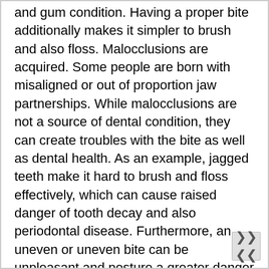and gum condition. Having a proper bite additionally makes it simpler to brush and also floss. Malocclusions are acquired. Some people are born with misaligned or out of proportion jaw partnerships. While malocclusions are not a source of dental condition, they can create troubles with the bite as well as dental health. As an example, jagged teeth make it hard to brush and floss effectively, which can cause raised danger of tooth decay and also periodontal disease. Furthermore, an uneven or uneven bite can be unpleasant and posture a greater danger of creating headaches. Malocclusion is one more typical source of dental problems. It happens when teeth do not meet correctly or are out of location. It can be inherited or obtained. Inheritable malocclusions consist of congenital missing out on teeth, excessive teeth, crowded teeth, or gaps. It can also be caused by a child's practices. The good news is, it can be fixed through orthodontic therapy. This specialized is constantly evolving and also enhancing, that makes it a superb option for many patients. Malocclusion is a typical problem that affects millions of individuals. Fortunately, malocclusion can be dealt with through orthodontics. While malocclusions can be embarrassing to deal with, it can likewise adversely impact